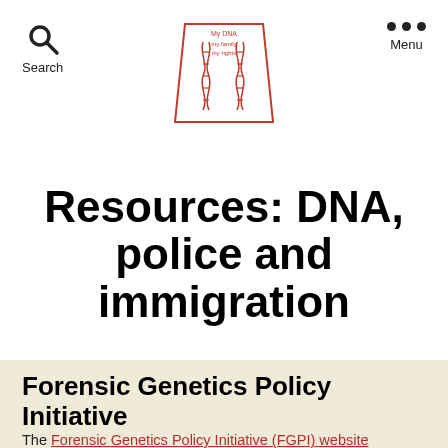Search | [My DNA my family my rights logo] | Menu
Resources: DNA, police and immigration
Forensic Genetics Policy Initiative
The Forensic Genetics Policy Initiative (FGPI) website contains resources relating to human rights standards for